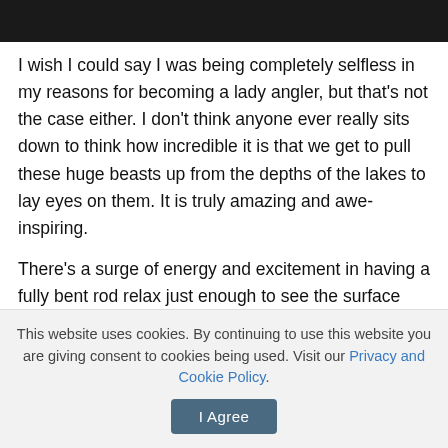I wish I could say I was being completely selfless in my reasons for becoming a lady angler, but that's not the case either. I don't think anyone ever really sits down to think how incredible it is that we get to pull these huge beasts up from the depths of the lakes to lay eyes on them. It is truly amazing and awe-inspiring.
There's a surge of energy and excitement in having a fully bent rod relax just enough to see the surface break with the head of a huge blue cat. Then, when you have it pulled from the water, to feel its body flex and writhe in your arms, you realize just how big the beast is.
This website uses cookies. By continuing to use this website you are giving consent to cookies being used. Visit our Privacy and Cookie Policy.